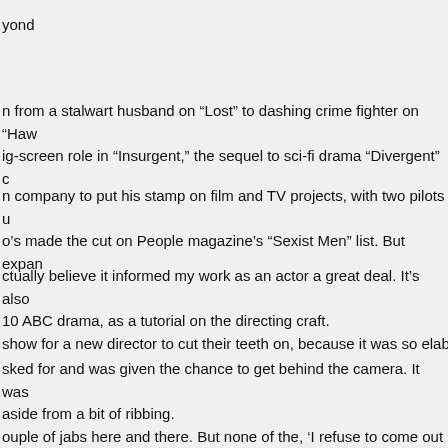yond
n from a stalwart husband on “Lost” to dashing crime fighter on “Haw ig-screen role in “Insurgent,” the sequel to sci-fi drama “Divergent” c
n company to put his stamp on film and TV projects, with two pilots u o’s made the cut on People magazine’s “Sexist Men” list. But expan
ctually believe it informed my work as an actor a great deal. It’s also 10 ABC drama, as a tutorial on the directing craft. show for a new director to cut their teeth on, because it was so elab
sked for and was given the chance to get behind the camera. It was aside from a bit of ribbing. ouple of jabs here and there. But none of the, ‘I refuse to come out o nore rewarding. As one of the rare Asian-American actors to play lea